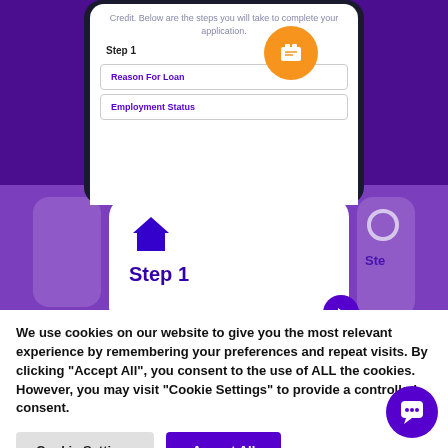[Figure (screenshot): Mobile app screenshot showing a loan application flow with 'Step 1' header, 'Reason For Loan' and 'Employment Status' fields, and an orange icon button in top right]
[Figure (screenshot): Card showing a house icon and 'Step 1' label in dark purple on white card, with purple card panels on sides]
We use cookies on our website to give you the most relevant experience by remembering your preferences and repeat visits. By clicking "Accept All", you consent to the use of ALL the cookies. However, you may visit "Cookie Settings" to provide a controlled consent.
Cookie Settings
Accept All